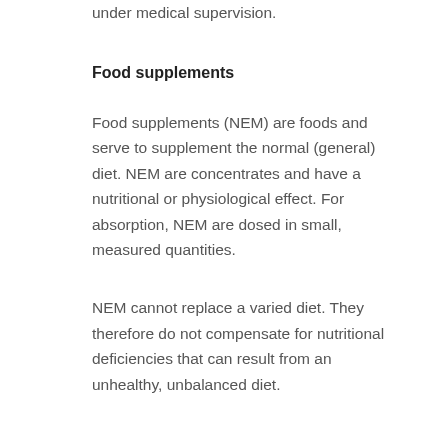under medical supervision.
Food supplements
Food supplements (NEM) are foods and serve to supplement the normal (general) diet. NEM are concentrates and have a nutritional or physiological effect. For absorption, NEM are dosed in small, measured quantities.
NEM cannot replace a varied diet. They therefore do not compensate for nutritional deficiencies that can result from an unhealthy, unbalanced diet.